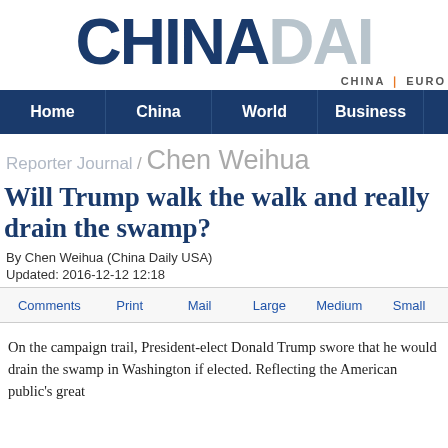CHINADAILY
CHINA | EURO
Home | China | World | Business
Reporter Journal / Chen Weihua
Will Trump walk the walk and real... swamp?
By Chen Weihua (China Daily USA)
Updated: 2016-12-12 12:18
Comments | Print | Mail | Large | Medium | Small
On the campaign trail, President-elect Donald Trump swore th... in Washington if elected. Reflecting the American public's grea...